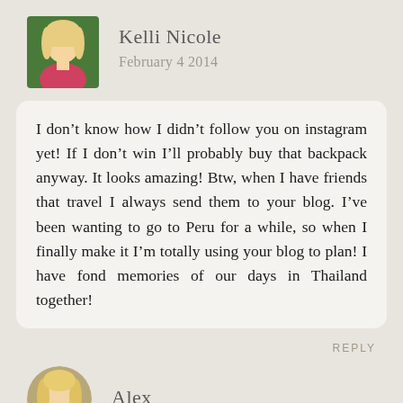[Figure (photo): Profile photo of Kelli Nicole, a blonde woman smiling]
Kelli Nicole
February 4 2014
I don’t know how I didn’t follow you on instagram yet! If I don’t win I’ll probably buy that backpack anyway. It looks amazing! Btw, when I have friends that travel I always send them to your blog. I’ve been wanting to go to Peru for a while, so when I finally make it I’m totally using your blog to plan! I have fond memories of our days in Thailand together!
REPLY
[Figure (photo): Profile photo of Alex, a blonde woman]
Alex